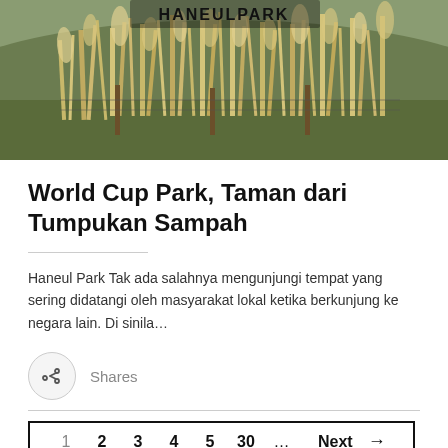[Figure (photo): Outdoor photo of tall grassy reeds/pampas grass field with a wooden fence, greenery in background, with a dark logo/text overlay at top center]
World Cup Park, Taman dari Tumpukan Sampah
Haneul Park Tak ada salahnya mengunjungi tempat yang sering didatangi oleh masyarakat lokal ketika berkunjung ke negara lain. Di sinila…
Shares
1  2  3  4  5  30  …  Next →